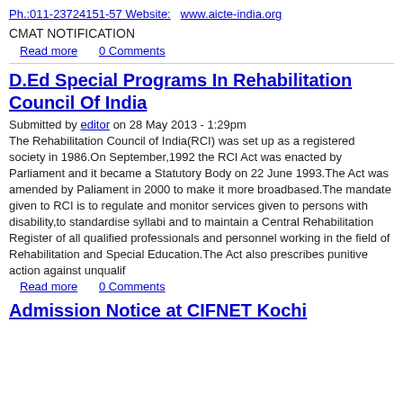Ph.:011-23724151-57 Website:   www.aicte-india.org
CMAT NOTIFICATION
Read more   0 Comments
D.Ed Special Programs In Rehabilitation Council Of India
Submitted by editor on 28 May 2013 - 1:29pm
The Rehabilitation Council of India(RCI) was set up as a registered society in 1986.On September,1992 the RCI Act was enacted by Parliament and it became a Statutory Body on 22 June 1993.The Act was amended by Paliament in 2000 to make it more broadbased.The mandate given to RCI is to regulate and monitor services given to persons with disability,to standardise syllabi and to maintain a Central Rehabilitation Register of all qualified professionals and personnel working in the field of Rehabilitation and Special Education.The Act also prescribes punitive action against unqualif
Read more   0 Comments
Admission Notice at CIFNET Kochi